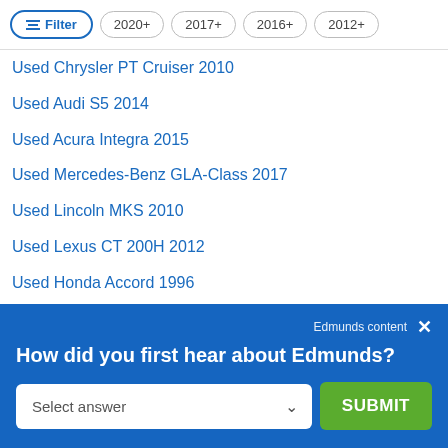Filter | 2020+ | 2017+ | 2016+ | 2012+
Used Chrysler PT Cruiser 2010
Used Audi S5 2014
Used Acura Integra 2015
Used Mercedes-Benz GLA-Class 2017
Used Lincoln MKS 2010
Used Lexus CT 200H 2012
Used Honda Accord 1996
Used Cadillac ATS Coupe 2019 For Sale
Used Acura MDX 2008 For Sale
Used Volkswagen Passat 1993
Used Toyota Land Cruiser 2004
Edmunds content × How did you first hear about Edmunds? Select answer ∨ SUBMIT